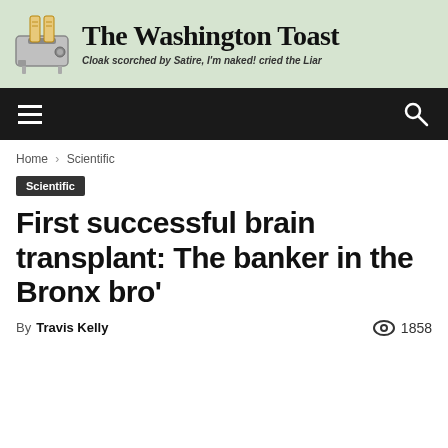[Figure (logo): The Washington Toast newspaper logo with toaster graphic and tagline 'Cloak scorched by Satire, I'm naked! cried the Liar']
[Figure (other): Navigation bar with hamburger menu icon on left and search icon on right, dark background]
Home › Scientific
Scientific
First successful brain transplant: The banker in the Bronx bro'
By Travis Kelly   👁 1858